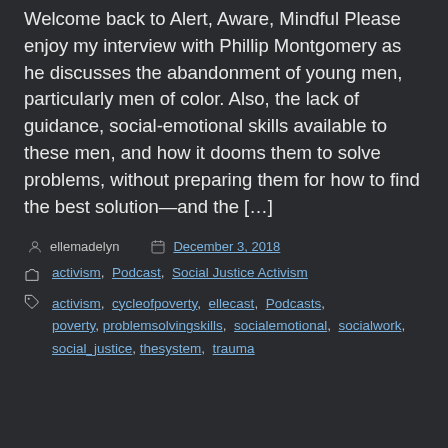Welcome back to Alert, Aware, Mindful Please enjoy my interview with Phillip Montgomery as he discusses the abandonment of young men, particularly men of color. Also, the lack of guidance, social-emotional skills available to these men, and how it dooms them to solve problems, without preparing them for how to find the best solution—and the […]
Post author: ellemadelyn  Posted on: December 3, 2018
Categories: activism, Podcast, Social Justice Activism
Tags: activism, cycleofpoverty, ellecast, Podcasts, poverty, problemsolvingskills, socialemotional, socialwork, social_justice, thesystem, trauma